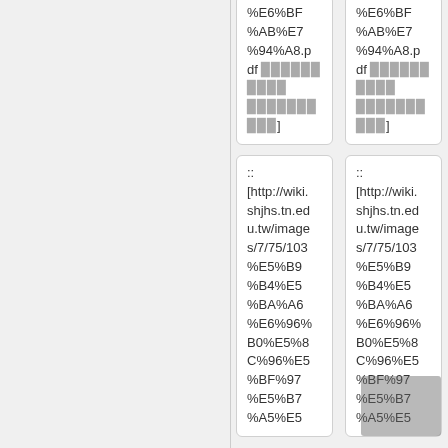%E6%BF %AB%E7 %94%A8.p df 国国国国国国国国国 国国国国国国国国国国]
%E6%BF %AB%E7 %94%A8.p df 国国国国国国国国国 国国国国国国国国国国]
:: [http://wiki. shjhs.tn.ed u.tw/images /7/75/103 %E5%B9 %B4%E5 %BA%A6 %E6%96% B0%E5%8 C%96%E5 %BF%97 %E5%B7 %A5%E5
:: [http://wiki. shjhs.tn.ed u.tw/images /7/75/103 %E5%B9 %B4%E5 %BA%A6 %E6%96% B0%E5%8 C%96%E5 %BF%97 %E5%B7 %A5%E5